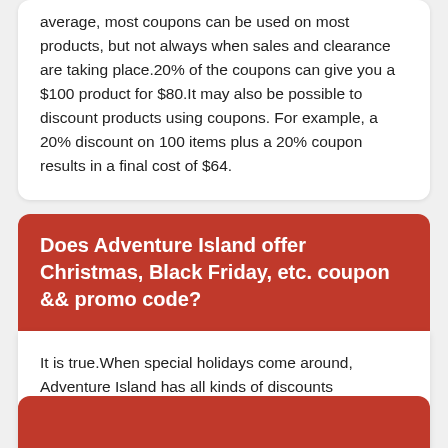average, most coupons can be used on most products, but not always when sales and clearance are taking place.20% of the coupons can give you a $100 product for $80.It may also be possible to discount products using coupons. For example, a 20% discount on 100 items plus a 20% coupon results in a final cost of $64.
Does Adventure Island offer Christmas, Black Friday, etc. coupon && promo code?
It is true.When special holidays come around, Adventure Island has all kinds of discounts available.On holidays such as Christmas, Black Friday, Cyber Monday, or Bank Holidays, there will be additional coupons to use.